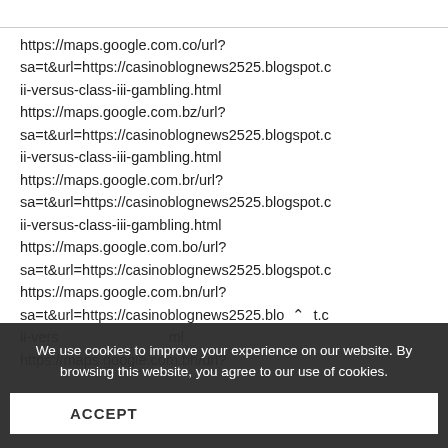https://maps.google.com.co/url?sa=t&url=https://casinoblognews2525.blogspot.c ii-versus-class-iii-gambling.html https://maps.google.com.bz/url?sa=t&url=https://casinoblognews2525.blogspot.c ii-versus-class-iii-gambling.html https://maps.google.com.br/url?sa=t&url=https://casinoblognews2525.blogspot.c ii-versus-class-iii-gambling.html https://maps.google.com.bo/url?sa=t&url=https://casinoblognews2525.blogspot.c https://maps.google.com.bn/url?sa=t&url=https://casinoblognews2525.blo t.c ii-vers ...ml https://maps.google.com.bh/url?
We use cookies to improve your experience on our website. By browsing this website, you agree to our use of cookies.
ACCEPT